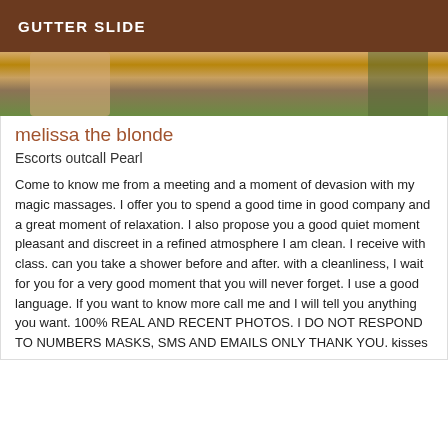GUTTER SLIDE
[Figure (photo): Outdoor photo showing a person's legs and greenery in the background]
melissa the blonde
Escorts outcall Pearl
Come to know me from a meeting and a moment of devasion with my magic massages. I offer you to spend a good time in good company and a great moment of relaxation. I also propose you a good quiet moment pleasant and discreet in a refined atmosphere I am clean. I receive with class. can you take a shower before and after. with a cleanliness, I wait for you for a very good moment that you will never forget. I use a good language. If you want to know more call me and I will tell you anything you want. 100% REAL AND RECENT PHOTOS. I DO NOT RESPOND TO NUMBERS MASKS, SMS AND EMAILS ONLY THANK YOU. kisses